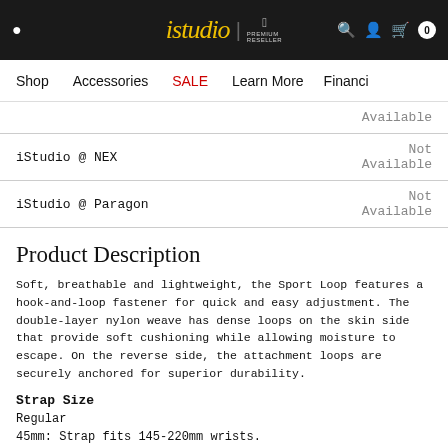iStudio | Apple Premium Reseller — navigation: Shop, Accessories, SALE, Learn More, Financing
| Store | Status |
| --- | --- |
|  | Available |
| iStudio @ NEX | Not Available |
| iStudio @ Paragon | Not Available |
Product Description
Soft, breathable and lightweight, the Sport Loop features a hook-and-loop fastener for quick and easy adjustment. The double-layer nylon weave has dense loops on the skin side that provide soft cushioning while allowing moisture to escape. On the reverse side, the attachment loops are securely anchored for superior durability.
Strap Size
Regular
45mm: Strap fits 145-220mm wrists.